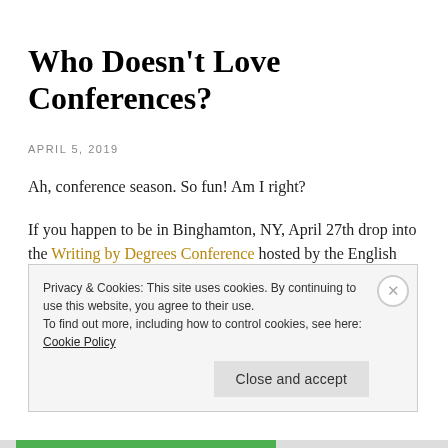Who Doesn’t Love Conferences?
APRIL 5, 2019
Ah, conference season. So fun! Am I right?
If you happen to be in Binghamton, NY,  April 27th  drop into the Writing by Degrees Conference hosted by the English Department at BU.  I’ll be presenting “Transclass Poetry: Witness from the Liminal Space.”
AND if you’re interested in Midwestern literature, I’ll be
Privacy & Cookies: This site uses cookies. By continuing to use this website, you agree to their use.
To find out more, including how to control cookies, see here: Cookie Policy
Close and accept